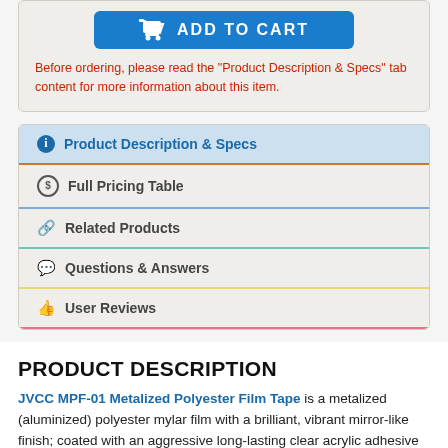[Figure (screenshot): Add to Cart button with shopping cart icon]
Before ordering, please read the "Product Description & Specs" tab content for more information about this item.
Product Description & Specs
Full Pricing Table
Related Products
Questions & Answers
User Reviews
PRODUCT DESCRIPTION
JVCC MPF-01 Metalized Polyester Film Tape is a metalized (aluminized) polyester mylar film with a brilliant, vibrant mirror-like finish; coated with an aggressive long-lasting clear acrylic adhesive